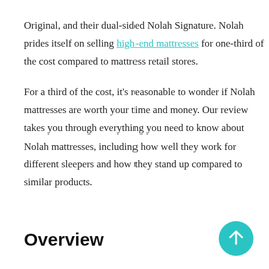Original, and their dual-sided Nolah Signature. Nolah prides itself on selling high-end mattresses for one-third of the cost compared to mattress retail stores.
For a third of the cost, it's reasonable to wonder if Nolah mattresses are worth your time and money. Our review takes you through everything you need to know about Nolah mattresses, including how well they work for different sleepers and how they stand up compared to similar products.
Overview